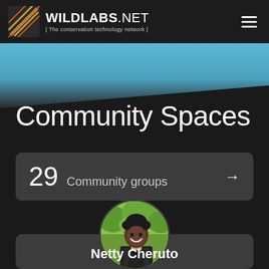WILDLABS.NET [ The conservation technology network ]
[Figure (screenshot): Blue sky hero background image]
Community Spaces
29 Community groups →
[Figure (photo): Circular profile photo of Netty Cheruto, a young woman smiling outdoors with green foliage background]
Netty Cheruto